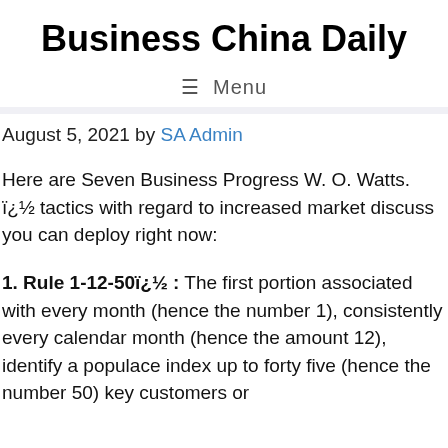Business China Daily
≡ Menu
August 5, 2021 by SA Admin
Here are Seven Business Progress W. O. Watts. ï¿½ tactics with regard to increased market discuss you can deploy right now:
1. Rule 1-12-50ï¿½ : The first portion associated with every month (hence the number 1), consistently every calendar month (hence the amount 12), identify a populace index up to forty five (hence the number 50) key customers or...